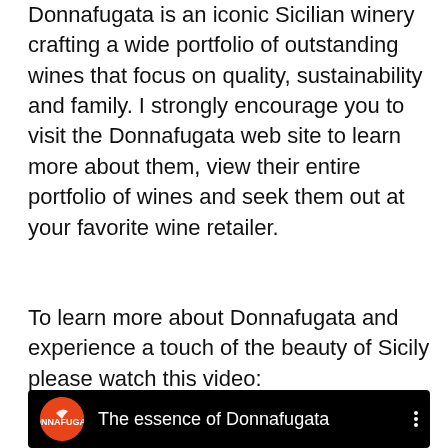Donnafugata is an iconic Sicilian winery crafting a wide portfolio of outstanding wines that focus on quality, sustainability and family. I strongly encourage you to visit the Donnafugata web site to learn more about them, view their entire portfolio of wines and seek them out at your favorite wine retailer.
To learn more about Donnafugata and experience a touch of the beauty of Sicily please watch this video:
[Figure (screenshot): YouTube video thumbnail showing the Donnafugata logo (orange circle with white bird) and the title 'The essence of Donnafugata' on a black background with three-dot menu icon.]